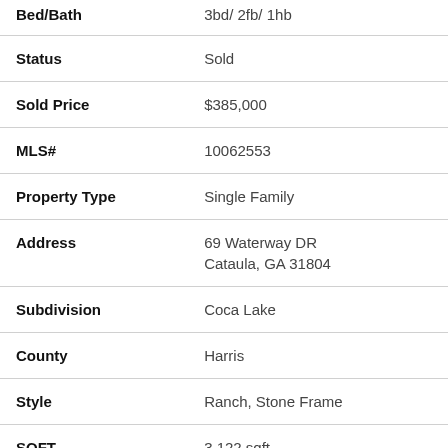| Field | Value |
| --- | --- |
| Bed/Bath | 3bd/ 2fb/ 1hb |
| Status | Sold |
| Sold Price | $385,000 |
| MLS# | 10062553 |
| Property Type | Single Family |
| Address | 69 Waterway DR
Cataula, GA 31804 |
| Subdivision | Coca Lake |
| County | Harris |
| Style | Ranch, Stone Frame |
| SQFT | 3,122 sqft |
| Lot Size | 1.000 Acres |